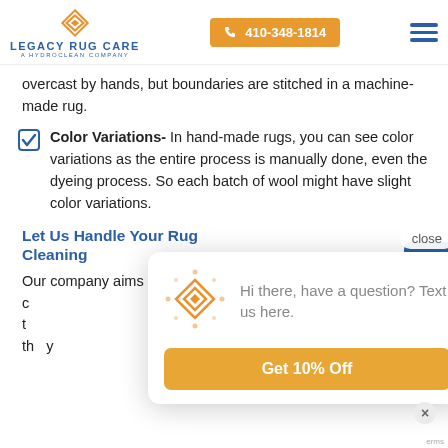LEGACY RUG CARE A HYDROCLEAN COMPANY | 410-348-1814
overcast by hands, but boundaries are stitched in a machine-made rug.
Color Variations- In hand-made rugs, you can see color variations as the entire process is manually done, even the dyeing process. So each batch of wool might have slight color variations.
Let Us Handle Your Rug Cleaning
Our company aims to provide satisfactory services to our c t th y
[Figure (screenshot): Chat popup with Legacy Rug Care diamond logo, message 'Hi there, have a question? Text us here.' and 'Get 10% Off' button]